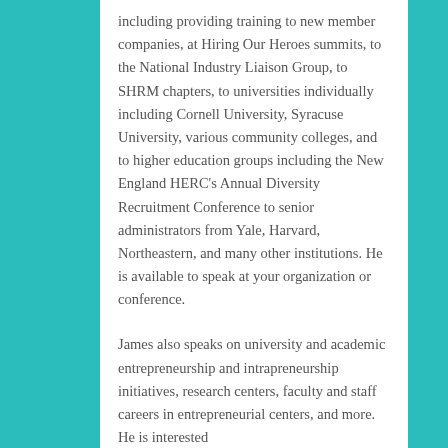including providing training to new member companies, at Hiring Our Heroes summits, to the National Industry Liaison Group, to SHRM chapters, to universities individually including Cornell University, Syracuse University, various community colleges, and to higher education groups including the New England HERC's Annual Diversity Recruitment Conference to senior administrators from Yale, Harvard, Northeastern, and many other institutions. He is available to speak at your organization or conference.
James also speaks on university and academic entrepreneurship and intrapreneurship initiatives, research centers, faculty and staff careers in entrepreneurial centers, and more. He is interested